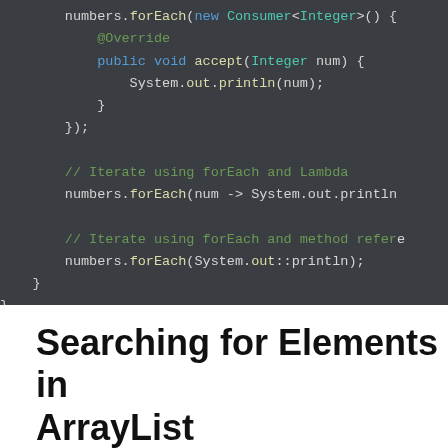[Figure (screenshot): Java code snippet showing iteration over an ArrayList using anonymous Consumer, lambda, and method reference with forEach]
Searching for Elements in ArrayList